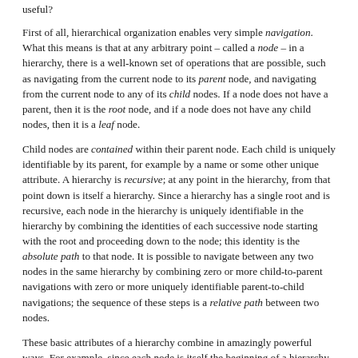useful?
First of all, hierarchical organization enables very simple navigation. What this means is that at any arbitrary point – called a node – in a hierarchy, there is a well-known set of operations that are possible, such as navigating from the current node to its parent node, and navigating from the current node to any of its child nodes. If a node does not have a parent, then it is the root node, and if a node does not have any child nodes, then it is a leaf node.
Child nodes are contained within their parent node. Each child is uniquely identifiable by its parent, for example by a name or some other unique attribute. A hierarchy is recursive; at any point in the hierarchy, from that point down is itself a hierarchy. Since a hierarchy has a single root and is recursive, each node in the hierarchy is uniquely identifiable in the hierarchy by combining the identities of each successive node starting with the root and proceeding down to the node; this identity is the absolute path to that node. It is possible to navigate between any two nodes in the same hierarchy by combining zero or more child-to-parent navigations with zero or more uniquely identifiable parent-to-child navigations; the sequence of these steps is a relative path between two nodes.
These basic attributes of a hierarchy combine in amazingly powerful ways. For example, since each node is itself the beginning of a hierarchy of any size, it is possible to refer to that entire sub-hierarchy simply by referring to that one particular node; this effectively hides the recursive complexity contained – or nested – within that node. As a result, it is